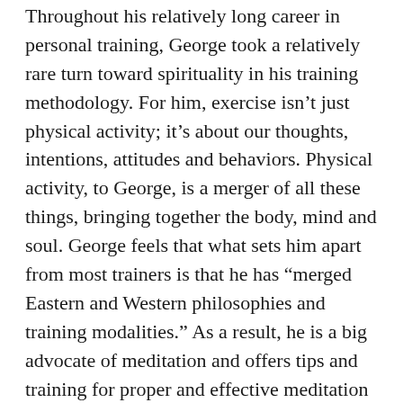Throughout his relatively long career in personal training, George took a relatively rare turn toward spirituality in his training methodology. For him, exercise isn't just physical activity; it's about our thoughts, intentions, attitudes and behaviors. Physical activity, to George, is a merger of all these things, bringing together the body, mind and soul. George feels that what sets him apart from most trainers is that he has “merged Eastern and Western philosophies and training modalities.” As a result, he is a big advocate of meditation and offers tips and training for proper and effective meditation practices.
One gets the sense that George sees the human body as part of a complex system that is the entire seen and unseen universe. He clearly sees more to humanity than what manifests itself physically, often speaking of the combination of the body,